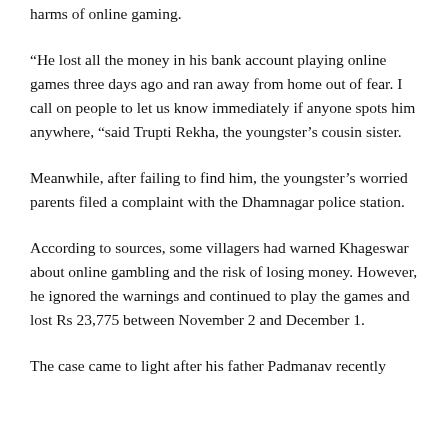harms of online gaming.
“He lost all the money in his bank account playing online games three days ago and ran away from home out of fear. I call on people to let us know immediately if anyone spots him anywhere, “said Trupti Rekha, the youngster’s cousin sister.
Meanwhile, after failing to find him, the youngster’s worried parents filed a complaint with the Dhamnagar police station.
According to sources, some villagers had warned Khageswar about online gambling and the risk of losing money. However, he ignored the warnings and continued to play the games and lost Rs 23,775 between November 2 and December 1.
The case came to light after his father Padmanav recently